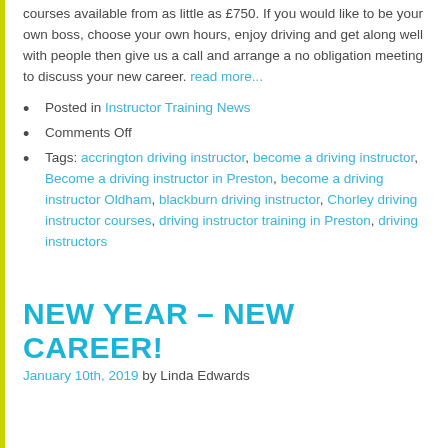courses available from as little as £750. If you would like to be your own boss, choose your own hours, enjoy driving and get along well with people then give us a call and arrange a no obligation meeting to discuss your new career. read more...
Posted in Instructor Training News
Comments Off
Tags: accrington driving instructor, become a driving instructor, Become a driving instructor in Preston, become a driving instructor Oldham, blackburn driving instructor, Chorley driving instructor courses, driving instructor training in Preston, driving instructors
NEW YEAR – NEW CAREER!
January 10th, 2019 by Linda Edwards